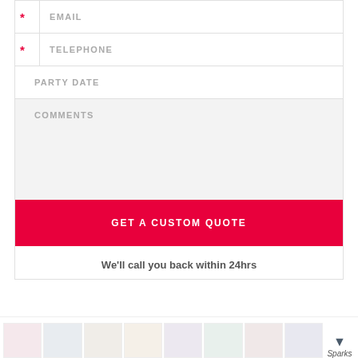EMAIL
TELEPHONE
PARTY DATE
COMMENTS
GET A CUSTOM QUOTE
We'll call you back within 24hrs
Sparks